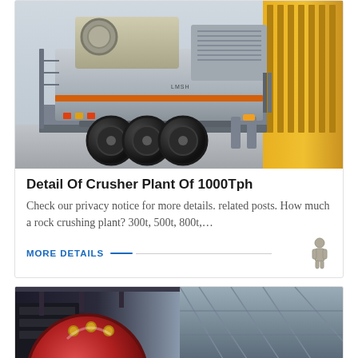[Figure (photo): Mobile crusher plant mounted on a truck/trailer, gray industrial machinery with large black wheels, photographed outdoors]
Detail Of Crusher Plant Of 1000Tph
Check our privacy notice for more details. related posts. How much a rock crushing plant? 300t, 500t, 800t,…
MORE DETAILS
[Figure (photo): Interior of industrial mill or crusher facility, showing a large red circular grinding wheel and structural steel framework]